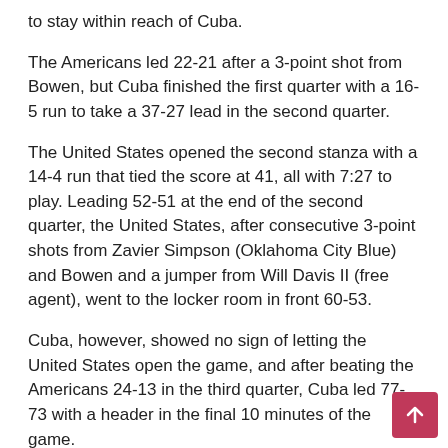to stay within reach of Cuba.
The Americans led 22-21 after a 3-point shot from Bowen, but Cuba finished the first quarter with a 16-5 run to take a 37-27 lead in the second quarter.
The United States opened the second stanza with a 14-4 run that tied the score at 41, all with 7:27 to play. Leading 52-51 at the end of the second quarter, the United States, after consecutive 3-point shots from Zavier Simpson (Oklahoma City Blue) and Bowen and a jumper from Will Davis II (free agent), went to the locker room in front 60-53.
Cuba, however, showed no sign of letting the United States open the game, and after beating the Americans 24-13 in the third quarter, Cuba led 77-73 with a header in the final 10 minutes of the game.
USA trailed 80-73, but 3-pointers from Bowen and Thomas were followed by a traditional three-point play from Thomas,